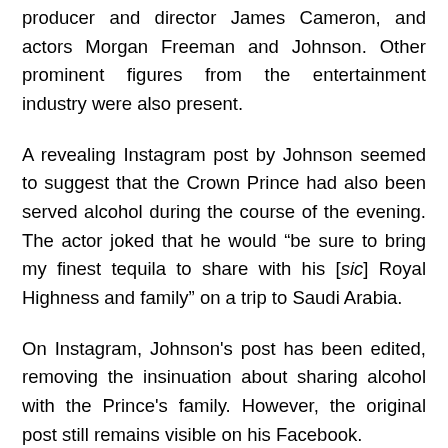producer and director James Cameron, and actors Morgan Freeman and Johnson. Other prominent figures from the entertainment industry were also present.
A revealing Instagram post by Johnson seemed to suggest that the Crown Prince had also been served alcohol during the course of the evening. The actor joked that he would “be sure to bring my finest tequila to share with his [sic] Royal Highness and family” on a trip to Saudi Arabia.
On Instagram, Johnson's post has been edited, removing the insinuation about sharing alcohol with the Prince's family. However, the original post still remains visible on his Facebook.
This has led to raised eyebrows, given that alcohol is strictly